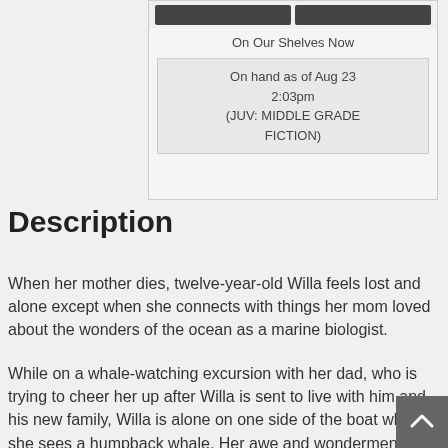On Our Shelves Now
On hand as of Aug 23 2:03pm (JUV: MIDDLE GRADE FICTION)
Description
When her mother dies, twelve-year-old Willa feels lost and alone except when she connects with things her mom loved about the wonders of the ocean as a marine biologist.
While on a whale-watching excursion with her dad, who is trying to cheer her up after Willa is sent to live with him and his new family, Willa is alone on one side of the boat when she sees a humpback whale. Her awe and wonderment about this majestic and beautiful creature turns to shock when the whale communicates with her, introducing herself as Mom and